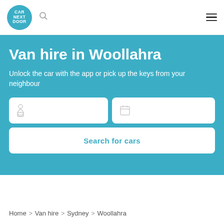[Figure (logo): Car Next Door circular blue logo with white text]
Van hire in Woollahra
Unlock the car with the app or pick up the keys from your neighbour
[Figure (screenshot): Search form with location input, date input, and Search for cars button]
Home > Van hire > Sydney > Woollahra